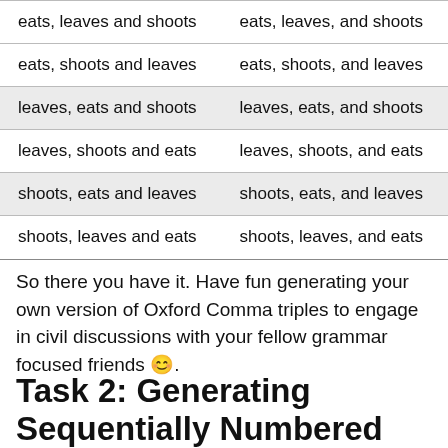| eats, leaves and shoots | eats, leaves, and shoots |
| eats, shoots and leaves | eats, shoots, and leaves |
| leaves, eats and shoots | leaves, eats, and shoots |
| leaves, shoots and eats | leaves, shoots, and eats |
| shoots, eats and leaves | shoots, eats, and leaves |
| shoots, leaves and eats | shoots, leaves, and eats |
So there you have it. Have fun generating your own version of Oxford Comma triples to engage in civil discussions with your fellow grammar focused friends 😊.
Task 2: Generating Sequentially Numbered BibTeX Entries